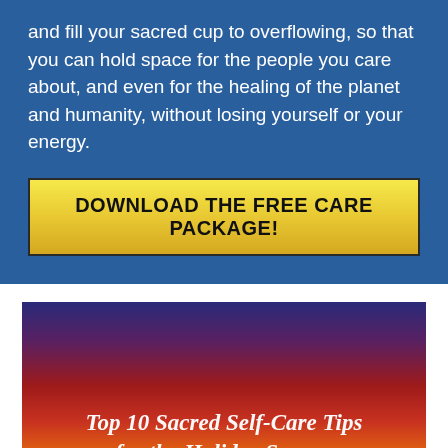and fill your sacred cup to overflowing, so that you can hold space for the people you care about, and even for the healing of the planet and humanity, without losing yourself or your energy.
DOWNLOAD THE FREE CARE PACKAGE!
[Figure (illustration): A rectangular image with a colorful gradient background transitioning from dark blue/purple at the top through red/maroon in the middle to orange and yellow/green at the bottom. White italic text reads: Top 10 Sacred Self-Care Tips for the Holiday Season]